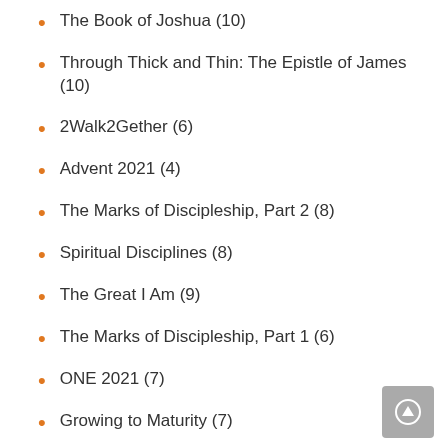The Book of Joshua (10)
Through Thick and Thin: The Epistle of James (10)
2Walk2Gether (6)
Advent 2021 (4)
The Marks of Discipleship, Part 2 (8)
Spiritual Disciplines (8)
The Great I Am (9)
The Marks of Discipleship, Part 1 (6)
ONE 2021 (7)
Growing to Maturity (7)